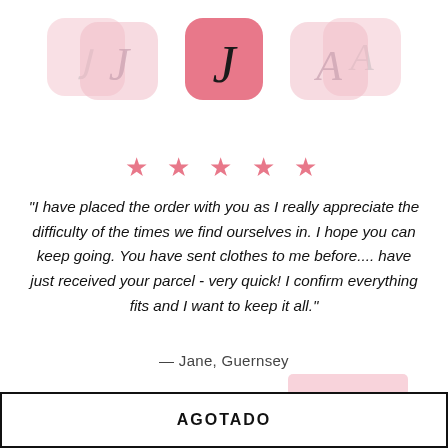[Figure (illustration): Three rounded square icons with script letter J (left: light pink, faded), J (center: darker pink, active/selected), and A (right: light pink, faded) arranged in a row at the top of the page.]
★★★★★
"I have placed the order with you as I really appreciate the difficulty of the times we find ourselves in. I hope you can keep going. You have sent clothes to me before.... have just received your parcel - very quick! I confirm everything fits and I want to keep it all."
— Jane, Guernsey
AGOTADO